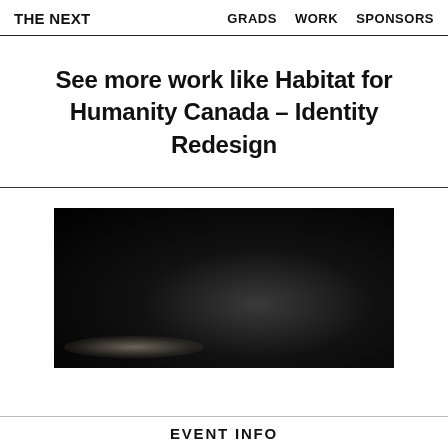THE NEXT   GRADS   WORK   SPONSORS
See more work like Habitat for Humanity Canada – Identity Redesign
[Figure (photo): Dark atmospheric photograph, mostly black with faint glowing light at bottom left, appears to show a dimly lit interior space.]
EVENT INFO